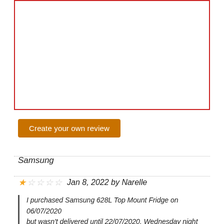[Figure (other): Empty red-bordered input/text box for review submission]
Create your own review
Samsung
★☆☆☆☆ Jan 8, 2022 by Narelle
I purchased Samsung 628L Top Mount Fridge on 06/07/2020 but wasn't delivered until 22/07/2020, Wednesday night